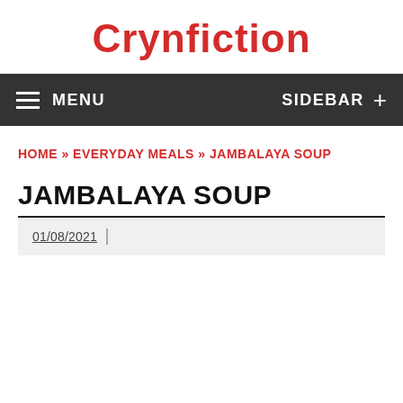Crynfiction
MENU   SIDEBAR +
HOME » EVERYDAY MEALS » JAMBALAYA SOUP
JAMBALAYA SOUP
01/08/2021